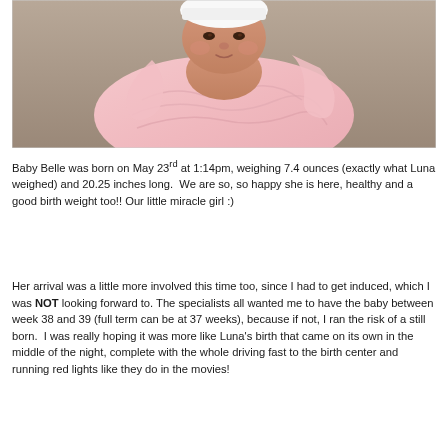[Figure (photo): A newborn baby girl swaddled tightly in a pink blanket and wearing a small white hat, photographed against a neutral background.]
Baby Belle was born on May 23rd at 1:14pm, weighing 7.4 ounces (exactly what Luna weighed) and 20.25 inches long.  We are so, so happy she is here, healthy and a good birth weight too!! Our little miracle girl :)
Her arrival was a little more involved this time too, since I had to get induced, which I was NOT looking forward to. The specialists all wanted me to have the baby between week 38 and 39 (full term can be at 37 weeks), because if not, I ran the risk of a still born.  I was really hoping it was more like Luna's birth that came on its own in the middle of the night, complete with the whole driving fast to the birth center and running red lights like they do in the movies!